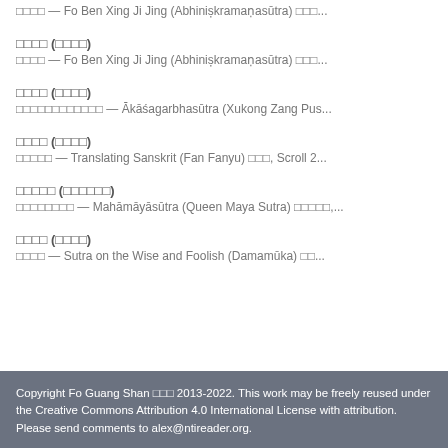□□□□ (□□□□) □□□□ — Fo Ben Xing Ji Jing (Abhinișkramaņasūtra) □□□...
□□□□ (□□□□) □□□□□□□□□□□□ — Ākāśagarbhasūtra (Xukong Zang Pus...
□□□□ (□□□□) □□□□□ — Translating Sanskrit (Fan Fanyu) □□□, Scroll 2...
□□□□□ (□□□□□□) □□□□□□□□ — Mahāmāyāsūtra (Queen Maya Sutra) □□□□□,...
□□□□ (□□□□) □□□□ — Sutra on the Wise and Foolish (Damamūka) □□...
Copyright Fo Guang Shan □□□ 2013-2022. This work may be freely reused under the Creative Commons Attribution 4.0 International License with attribution. Please send comments to alex@ntireader.org.